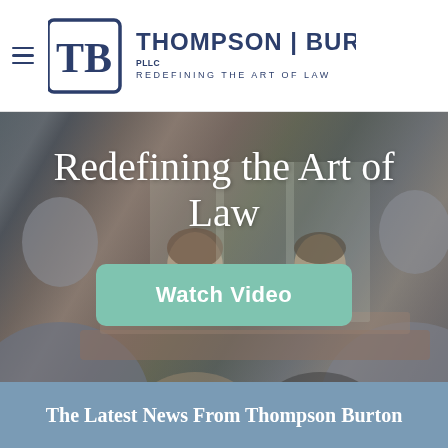[Figure (logo): Thompson Burton PLLC logo with hamburger menu icon — logo shows 'TB' monogram in navy square border, followed by 'THOMPSON | BURTON PLLC' and 'REDEFINING THE ART OF LAW' tagline]
[Figure (photo): Background photo of business people sitting around a conference table in a law firm setting, dark overlay applied]
Redefining the Art of Law
Watch Video
The Latest News From Thompson Burton